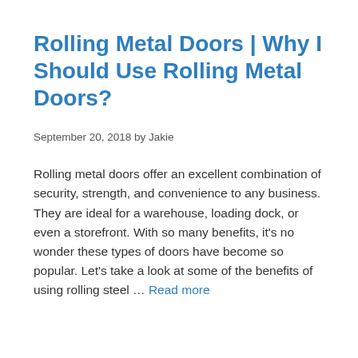Rolling Metal Doors | Why I Should Use Rolling Metal Doors?
September 20, 2018 by Jakie
Rolling metal doors offer an excellent combination of security, strength, and convenience to any business. They are ideal for a warehouse, loading dock, or even a storefront. With so many benefits, it's no wonder these types of doors have become so popular. Let's take a look at some of the benefits of using rolling steel … Read more